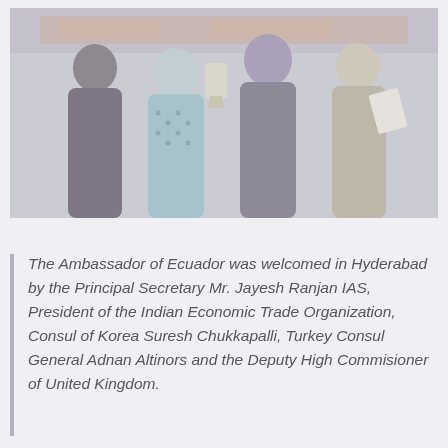[Figure (photo): A group of people at an awards or reception ceremony, exchanging a trophy or plaque, with a colorful banner in the background.]
The Ambassador of Ecuador was welcomed in Hyderabad by the Principal Secretary Mr. Jayesh Ranjan IAS, President of the Indian Economic Trade Organization, Consul of Korea Suresh Chukkapalli, Turkey Consul General Adnan Altinors and the Deputy High Commisioner of United Kingdom.